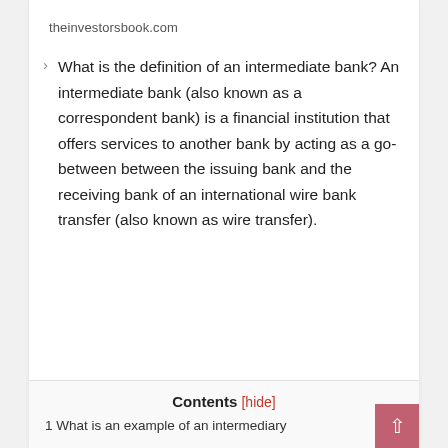theinvestorsbook.com
What is the definition of an intermediate bank? An intermediate bank (also known as a correspondent bank) is a financial institution that offers services to another bank by acting as a go-between between the issuing bank and the receiving bank of an international wire bank transfer (also known as wire transfer).
Contents [hide]
1 What is an example of an intermediary